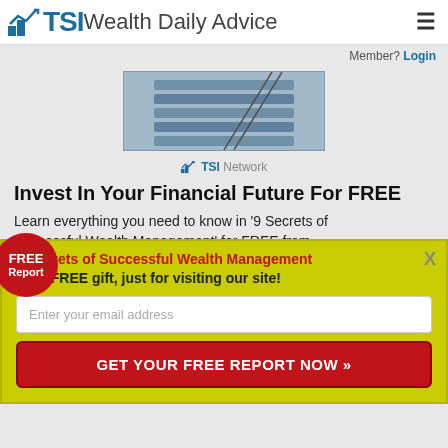TSI Wealth Daily Advice
Member? Login
[Figure (photo): Escalator or industrial equipment photo with TSI Network logo below]
Invest In Your Financial Future For FREE
Learn everything you need to know in '9 Secrets of Successful Wealth Management' for FREE from
FREE Report
9 Secrets of Successful Wealth Management
Your FREE gift, just for visiting our site!
Enter your email address
GET YOUR FREE REPORT NOW »